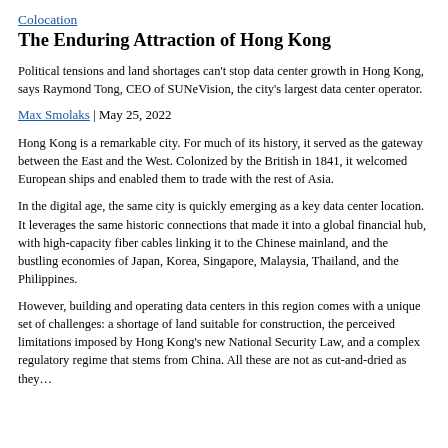Colocation
The Enduring Attraction of Hong Kong
Political tensions and land shortages can't stop data center growth in Hong Kong, says Raymond Tong, CEO of SUNeVision, the city's largest data center operator.
Max Smolaks | May 25, 2022
Hong Kong is a remarkable city. For much of its history, it served as the gateway between the East and the West. Colonized by the British in 1841, it welcomed European ships and enabled them to trade with the rest of Asia.
In the digital age, the same city is quickly emerging as a key data center location. It leverages the same historic connections that made it into a global financial hub, with high-capacity fiber cables linking it to the Chinese mainland, and the bustling economies of Japan, Korea, Singapore, Malaysia, Thailand, and the Philippines.
However, building and operating data centers in this region comes with a unique set of challenges: a shortage of land suitable for construction, the perceived limitations imposed by Hong Kong's new National Security Law, and a complex regulatory regime that stems from China. All these are not as cut-and-dried as they...